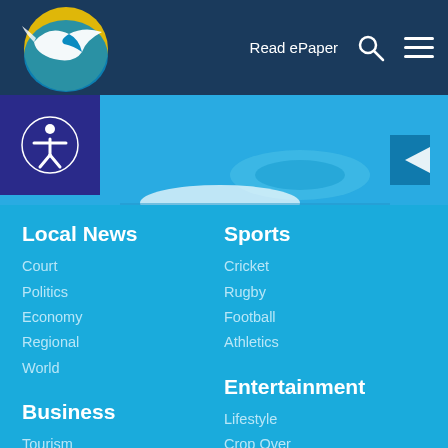Read ePaper
[Figure (logo): News website logo with bird/fish graphic in blue and yellow circle]
[Figure (photo): Blue banner image showing partial view of a roundabout or road scene]
Local News
Court
Politics
Economy
Regional
World
Sports
Cricket
Rugby
Football
Athletics
Business
Tourism
Banking
Entrepreneurship
Entertainment
Lifestyle
Crop Over
Health
Bajan Vibes